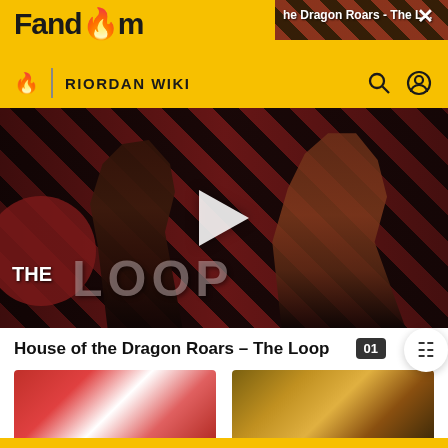Fandom | RIORDAN WIKI
[Figure (screenshot): Video player showing 'House of the Dragon Roars - The Loop' with play button overlay, THE LOOP branding, and two characters in medieval fantasy costumes against diagonal stripe background]
House of the Dragon Roars - The Loop
[Figure (illustration): Thumbnail image of Sally Jackson character]
Sally Jackson
[Figure (illustration): Thumbnail image of Ethan Nakamura character]
Ethan Nakamura